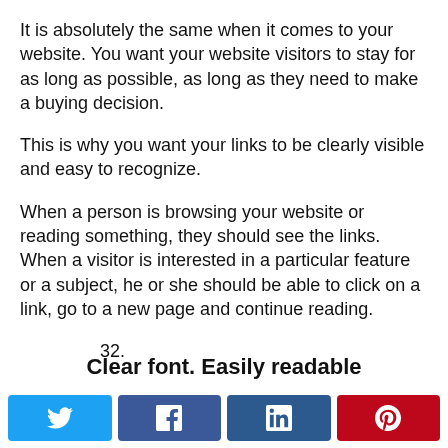It is absolutely the same when it comes to your website. You want your website visitors to stay for as long as possible, as long as they need to make a buying decision.
This is why you want your links to be clearly visible and easy to recognize.
When a person is browsing your website or reading something, they should see the links. When a visitor is interested in a particular feature or a subject, he or she should be able to click on a link, go to a new page and continue reading.
32.
Clear font. Easily readable
Social share buttons: Twitter, Facebook, LinkedIn, Pinterest